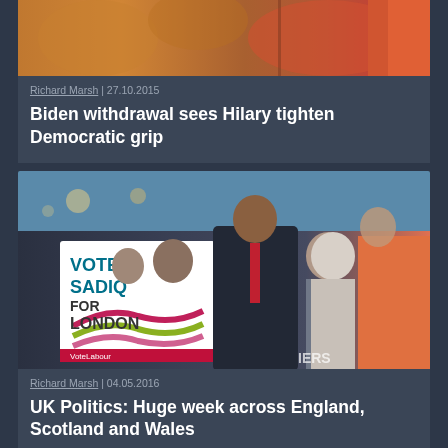[Figure (photo): Partial photo at top of page showing blurred orange/red background with a person in red/orange clothing on the right side]
Richard Marsh | 27.10.2015
Biden withdrawal sees Hilary tighten Democratic grip
[Figure (photo): Campaign photo showing people at a political event with a 'VOTE SADIQ FOR LONDON' sign and a group of supporters including Sadiq Khan]
Richard Marsh | 04.05.2016
UK Politics: Huge week across England, Scotland and Wales